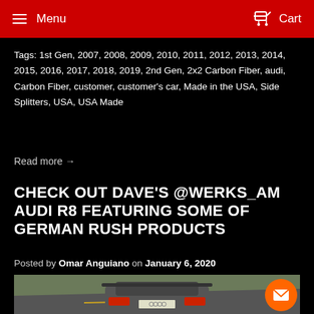Menu  Cart
Tags: 1st Gen, 2007, 2008, 2009, 2010, 2011, 2012, 2013, 2014, 2015, 2016, 2017, 2018, 2019, 2nd Gen, 2x2 Carbon Fiber, audi, Carbon Fiber, customer, customer's car, Made in the USA, Side Splitters, USA, USA Made
Read more →
CHECK OUT DAVE'S @WERKS_AM AUDI R8 FEATURING SOME OF GERMAN RUSH PRODUCTS
Posted by Omar Anguiano on January 6, 2020
[Figure (photo): Rear view of a grey Audi R8 sports car on a curved road with autumn trees in the background]